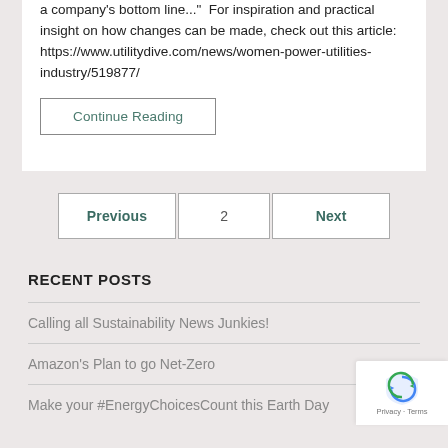a company's bottom line..."  For inspiration and practical insight on how changes can be made, check out this article: https://www.utilitydive.com/news/women-power-utilities-industry/519877/
Continue Reading
Previous  2  Next
RECENT POSTS
Calling all Sustainability News Junkies!
Amazon's Plan to go Net-Zero
Make your #EnergyChoicesCount this Earth Day